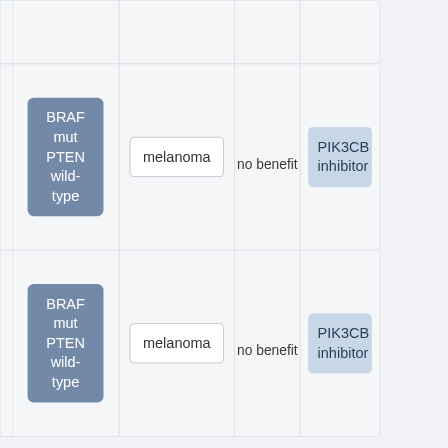|  | Biomarker | Cancer type | Benefit | Drug |
| --- | --- | --- | --- | --- |
|  | BRAF mut PTEN wild-type | melanoma | no benefit | PIK3CB inhibitor |
|  | BRAF mut PTEN wild-type | melanoma | no benefit | PIK3CB inhibitor |